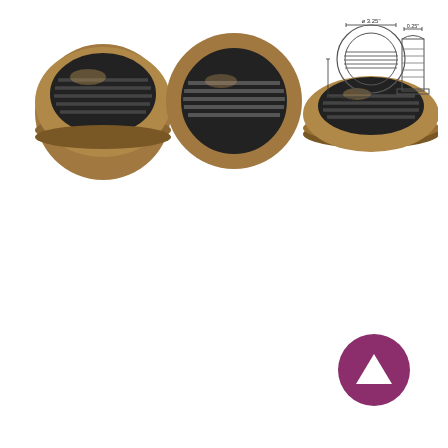[Figure (photo): Five views of a round louvered vent/grille: three perspective/isometric photos in bronze/antique finish showing a circular vented cap from different angles, plus two line-drawing diagrams showing top view and side profile with dimension annotations (approx 3.25" diameter and 0.26" height labels)]
[Figure (illustration): Purple circular button with a white upward-pointing triangle/arrow in the center, used as a scroll-to-top navigation element]